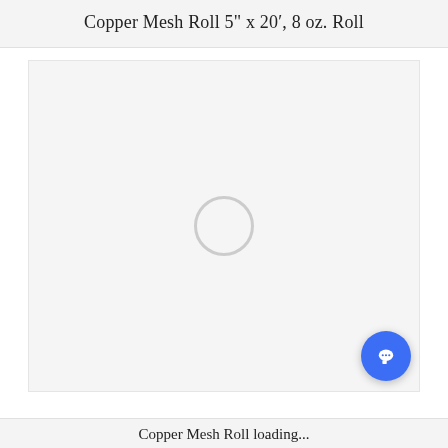Copper Mesh Roll 5" x 20', 8 oz. Roll
[Figure (photo): Product image placeholder showing a loading spinner circle on a light gray background. A blue chat button is visible in the bottom right corner.]
Copper Mesh Roll loading...